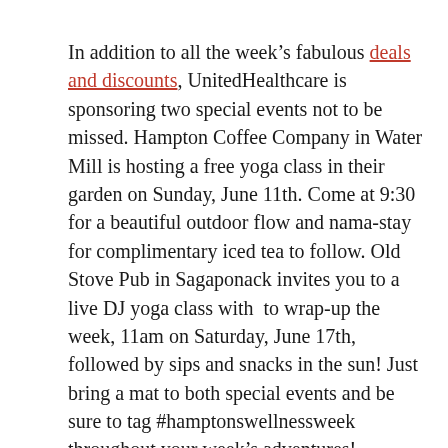In addition to all the week's fabulous deals and discounts, UnitedHealthcare is sponsoring two special events not to be missed. Hampton Coffee Company in Water Mill is hosting a free yoga class in their garden on Sunday, June 11th. Come at 9:30 for a beautiful outdoor flow and nama-stay for complimentary iced tea to follow. Old Stove Pub in Sagaponack invites you to a live DJ yoga class with  to wrap-up the week, 11am on Saturday, June 17th, followed by sips and snacks in the sun! Just bring a mat to both special events and be sure to tag #hamptonswellnessweek throughout your week's adventures!
Hamptons Wellness Week is all about creating a balanced lifestyle in which you're able to indulge, enjoy, and integrate well-being into real life. Sprouted from an idea to create an accessible, affordable, enticing way for all members of the community to experience the unique array of wellness opportunities offered on the East End, this